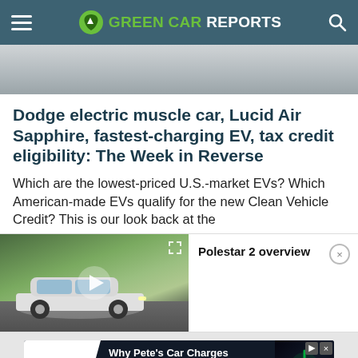GREEN CAR REPORTS
[Figure (photo): Partial article hero image showing a blurred outdoor/road scene, cropped at top]
Dodge electric muscle car, Lucid Air Sapphire, fastest-charging EV, tax credit eligibility: The Week in Reverse
Which are the lowest-priced U.S.-market EVs? Which American-made EVs qualify for the new Clean Vehicle Credit? This is our look back at the
[Figure (screenshot): Video thumbnail showing a white Polestar 2 driving on a highway with an overlay play button and expand icon. Video title reads 'Polestar 2 overview' with a close button.]
[Figure (other): Advertisement banner for SAE International: 'Why Pete's Car Charges Reliably' with a 'WATCH HIS STORY' call-to-action button and an image of an EV charging cable glowing green.]